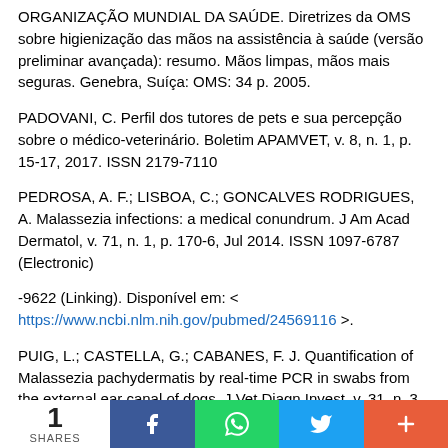ORGANIZAÇÃO MUNDIAL DA SAÚDE. Diretrizes da OMS sobre higienização das mãos na assistência à saúde (versão preliminar avançada): resumo. Mãos limpas, mãos mais seguras. Genebra, Suíça: OMS: 34 p. 2005.
PADOVANI, C. Perfil dos tutores de pets e sua percepção sobre o médico-veterinário. Boletim APAMVET, v. 8, n. 1, p. 15-17, 2017. ISSN 2179-7110
PEDROSA, A. F.; LISBOA, C.; GONCALVES RODRIGUES, A. Malassezia infections: a medical conundrum. J Am Acad Dermatol, v. 71, n. 1, p. 170-6, Jul 2014. ISSN 1097-6787 (Electronic)
-9622 (Linking). Disponível em: < https://www.ncbi.nlm.nih.gov/pubmed/24569116 >.
PUIG, L.; CASTELLA, G.; CABANES, F. J. Quantification of Malassezia pachydermatis by real-time PCR in swabs from the external ear canal of dogs. J Vet Diagn Invest, v. 31, n. 3, p. 440-447, May 2019. ISSN 1943-4936
1 SHARES  [Facebook] [WhatsApp] [Twitter] [+]